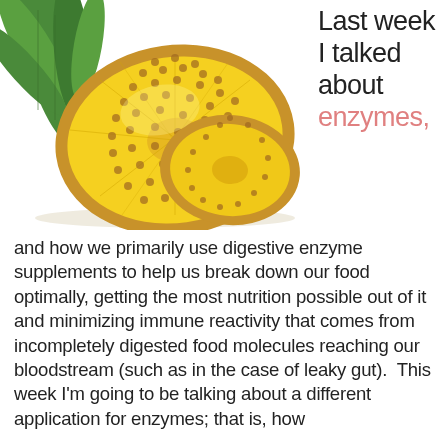[Figure (photo): A sliced pineapple with green leaves visible at the left, cut cross-sections showing yellow flesh, on a white background.]
Last week I talked about enzymes,
and how we primarily use digestive enzyme supplements to help us break down our food optimally, getting the most nutrition possible out of it and minimizing immune reactivity that comes from incompletely digested food molecules reaching our bloodstream (such as in the case of leaky gut).  This week I'm going to be talking about a different application for enzymes; that is, how